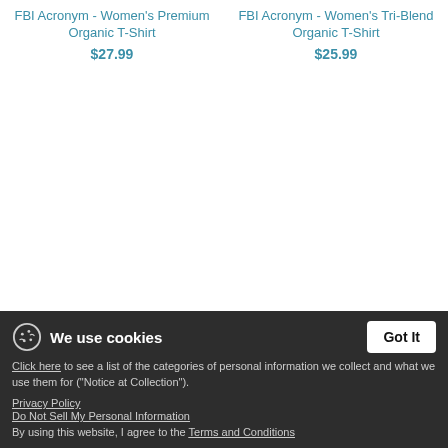FBI Acronym - Women's Premium Organic T-Shirt
$27.99
FBI Acronym - Women's Tri-Blend Organic T-Shirt
$25.99
FBI Acronym - Unisex Organic Hoodie
$27.99 (partial)
Respect Tires - Women's Premium Organic T-Shirt
$27.99 (partial)
We use cookies
Click here to see a list of the categories of personal information we collect and what we use them for ("Notice at Collection").
Privacy Policy
Do Not Sell My Personal Information
By using this website, I agree to the Terms and Conditions
Got It